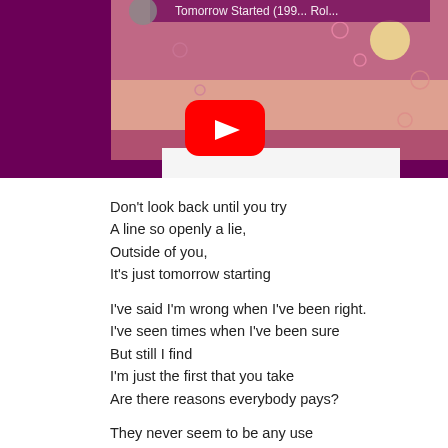[Figure (screenshot): YouTube video thumbnail showing a surreal/fantasy artwork with figures floating in a pink/purple sky with bubbles and a moon. Video title partially visible: 'Tomorrow Started (199... Rol...' with YouTube play button overlay.]
Don't look back until you try
A line so openly a lie,
Outside of you,
It's just tomorrow starting

I've said I'm wrong when I've been right.
I've seen times when I've been sure
But still I find
I'm just the first that you take
Are there reasons everybody pays?

They never seem to be any use
They never seem to be any use
It's just tomorrow starting